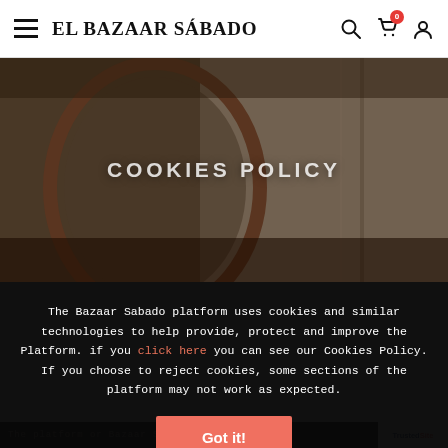EL BAZAAR SÁBADO
COOKIES POLICY
[Figure (photo): Dark moody background image showing an antique oval mirror against a weathered wall]
The Bazaar Sabado platform uses cookies and similar technologies to help provide, protect and improve the Platform. if you click here you can see our Cookies Policy. If you choose to reject cookies, some sections of the platform may not work as expected.
Got it!
TrustedSite